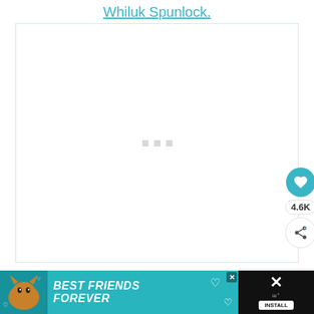Whiluk Spunlock.
[Figure (other): Large white content area with loading indicator (three small grey squares) in the center, representing a loading/embedded media placeholder. A teal/cyan circular border surrounds the content area.]
[Figure (other): Floating action buttons on right side: a teal heart button, a '4.6K' likes count badge, and a white share button with plus icon.]
[Figure (other): Advertisement banner at bottom: teal background with cat illustration on left, bold italic white text 'BEST FRIENDS FOREVER' with heart icons, close button (X), and dark right panel with X icon and install button.]